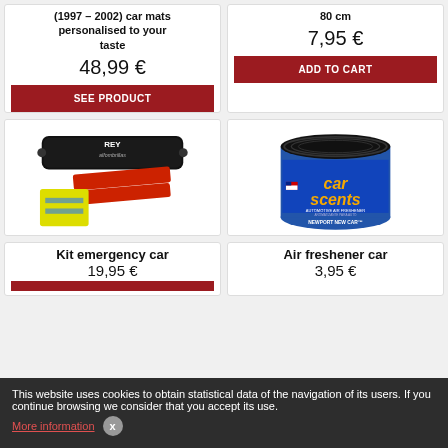(1997 - 2002) car mats personalised to your taste
48,99 €
SEE PRODUCT
80 cm
7,95 €
ADD TO CART
[Figure (photo): Car emergency kit with bag, red wedges, and yellow reflective vest]
[Figure (photo): Car Scents automotive air freshener can - Newport New Car scent]
Kit emergency car
Air freshener car
19,95 €
3,95 €
This website uses cookies to obtain statistical data of the navigation of its users. If you continue browsing we consider that you accept its use.
More information
x